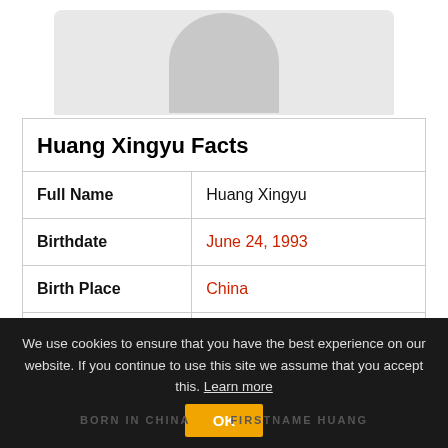[Figure (photo): Partial profile photo placeholder showing a gray silhouette avatar at the top of the page]
| Huang Xingyu Facts |  |
| --- | --- |
| Full Name | Huang Xingyu |
| Birthdate | June 24, 1993 |
| Birth Place | China |
| Age (in 2022) | 29 Years Old |
| Zodiac | Cancer |
| Occupation | TikTok Star |
We use cookies to ensure that you have the best experience on our website. If you continue to use this site we assume that you accept this. Learn more
BORN IN CHINA   FIRSTNAME HUANG